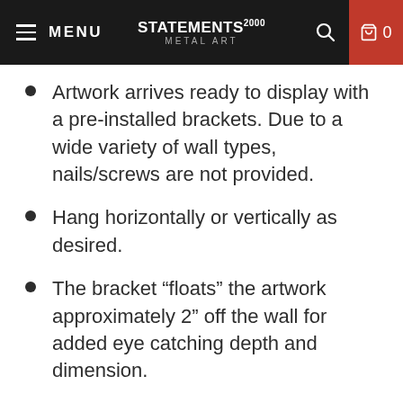MENU | STATEMENTS METAL ART 2000 | 0
Artwork arrives ready to display with a pre-installed brackets. Due to a wide variety of wall types, nails/screws are not provided.
Hang horizontally or vertically as desired.
The bracket “floats” the artwork approximately 2” off the wall for added eye catching depth and dimension.
The artwork is quality